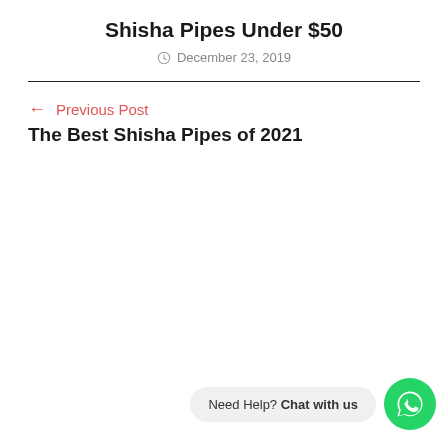Shisha Pipes Under $50
December 23, 2019
← Previous Post
The Best Shisha Pipes of 2021
Need Help? Chat with us